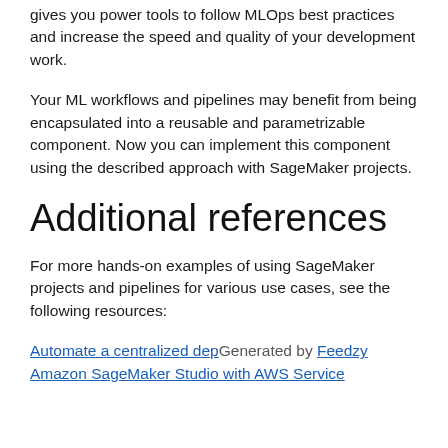gives you power tools to follow MLOps best practices and increase the speed and quality of your development work.
Your ML workflows and pipelines may benefit from being encapsulated into a reusable and parametrizable component. Now you can implement this component using the described approach with SageMaker projects.
Additional references
For more hands-on examples of using SageMaker projects and pipelines for various use cases, see the following resources:
Automate a centralized deployment of Amazon SageMaker Studio with AWS Service...